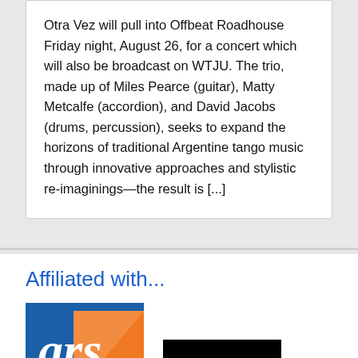Otra Vez will pull into Offbeat Roadhouse Friday night, August 26, for a concert which will also be broadcast on WTJU. The trio, made up of Miles Pearce (guitar), Matty Metcalfe (accordion), and David Jacobs (drums, percussion), seeks to expand the horizons of traditional Argentine tango music through innovative approaches and stylistic re-imaginings—the result is [...]
Affiliated with...
[Figure (logo): University of Virginia Arts (ars) logo — blue square with orange triangle and white 'ars' text]
[Figure (logo): Virginia logo — black rectangle with white decorative script 'Virginia' text]